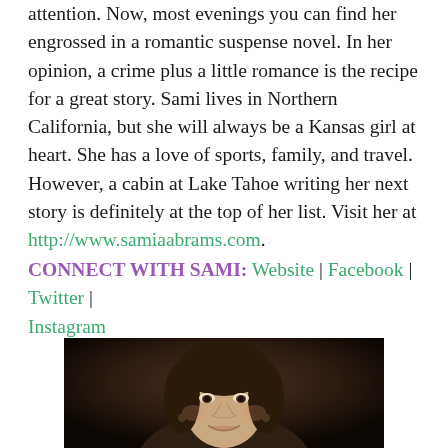attention. Now, most evenings you can find her engrossed in a romantic suspense novel. In her opinion, a crime plus a little romance is the recipe for a great story. Sami lives in Northern California, but she will always be a Kansas girl at heart. She has a love of sports, family, and travel. However, a cabin at Lake Tahoe writing her next story is definitely at the top of her list. Visit her at http://www.samiaabrams.com.
CONNECT WITH SAMI: Website | Facebook | Twitter | Instagram
[Figure (photo): Professional headshot of a woman with dark brown shoulder-length hair, smiling, on a dark background]